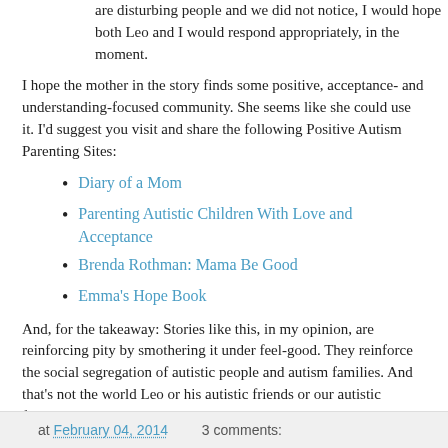are disturbing people and we did not notice, I would hope both Leo and I would respond appropriately, in the moment.
I hope the mother in the story finds some positive, acceptance- and understanding-focused community. She seems like she could use it. I'd suggest you visit and share the following Positive Autism Parenting Sites:
Diary of a Mom
Parenting Autistic Children With Love and Acceptance
Brenda Rothman: Mama Be Good
Emma's Hope Book
And, for the takeaway: Stories like this, in my opinion, are reinforcing pity by smothering it under feel-good. They reinforce the social segregation of autistic people and autism families. And that's not the world Leo or his autistic friends or our autistic families deserve to live in.
at February 04, 2014   3 comments: